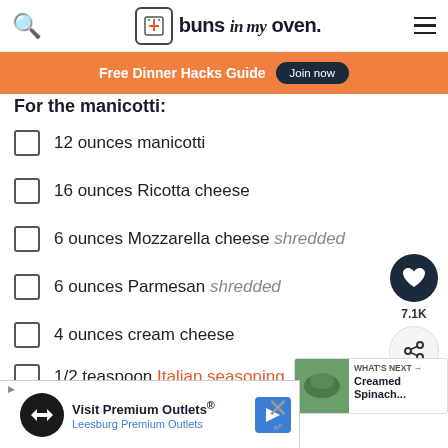buns in my oven
For the manicotti:
12 ounces manicotti
16 ounces Ricotta cheese
6 ounces Mozzarella cheese shredded
6 ounces Parmesan shredded
4 ounces cream cheese
1/2 teaspoon Italian seasoning
1/2 teaspoon dried basil
1 tablespoon olive oil
WHAT'S NEXT → Creamed Spinach...
Visit Premium Outlets® Leesburg Premium Outlets